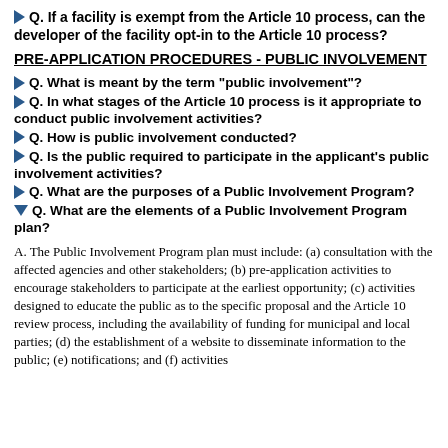Q. If a facility is exempt from the Article 10 process, can the developer of the facility opt-in to the Article 10 process?
PRE-APPLICATION PROCEDURES - PUBLIC INVOLVEMENT
Q. What is meant by the term "public involvement"?
Q. In what stages of the Article 10 process is it appropriate to conduct public involvement activities?
Q. How is public involvement conducted?
Q. Is the public required to participate in the applicant's public involvement activities?
Q. What are the purposes of a Public Involvement Program?
Q. What are the elements of a Public Involvement Program plan?
A. The Public Involvement Program plan must include: (a) consultation with the affected agencies and other stakeholders; (b) pre-application activities to encourage stakeholders to participate at the earliest opportunity; (c) activities designed to educate the public as to the specific proposal and the Article 10 review process, including the availability of funding for municipal and local parties; (d) the establishment of a website to disseminate information to the public; (e) notifications; and (f) activities